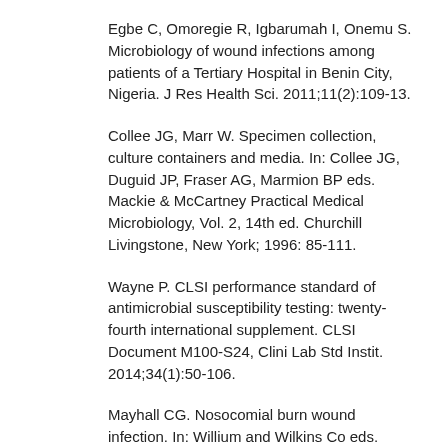Egbe C, Omoregie R, Igbarumah I, Onemu S. Microbiology of wound infections among patients of a Tertiary Hospital in Benin City, Nigeria. J Res Health Sci. 2011;11(2):109-13.
Collee JG, Marr W. Specimen collection, culture containers and media. In: Collee JG, Duguid JP, Fraser AG, Marmion BP eds. Mackie & McCartney Practical Medical Microbiology, Vol. 2, 14th ed. Churchill Livingstone, New York; 1996: 85-111.
Wayne P. CLSI performance standard of antimicrobial susceptibility testing: twenty-fourth international supplement. CLSI Document M100-S24, Clini Lab Std Instit. 2014;34(1):50-106.
Mayhall CG. Nosocomial burn wound infection. In: Willium and Wilkins Co eds. Hospital epidemiology and infection control. Baltimore, USA; 1996: 225-236.
Sader HS, Jones RN, Silva JB. Skin and soft tissue